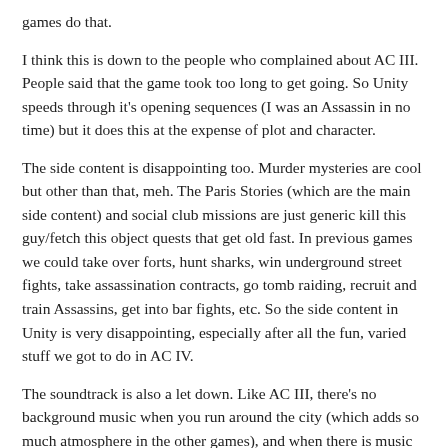games do that.
I think this is down to the people who complained about AC III. People said that the game took too long to get going. So Unity speeds through it's opening sequences (I was an Assassin in no time) but it does this at the expense of plot and character.
The side content is disappointing too. Murder mysteries are cool but other than that, meh. The Paris Stories (which are the main side content) and social club missions are just generic kill this guy/fetch this object quests that get old fast. In previous games we could take over forts, hunt sharks, win underground street fights, take assassination contracts, go tomb raiding, recruit and train Assassins, get into bar fights, etc. So the side content in Unity is very disappointing, especially after all the fun, varied stuff we got to do in AC IV.
The soundtrack is also a let down. Like AC III, there's no background music when you run around the city (which adds so much atmosphere in the other games), and when there is music it's bland, themeless and forgettable.